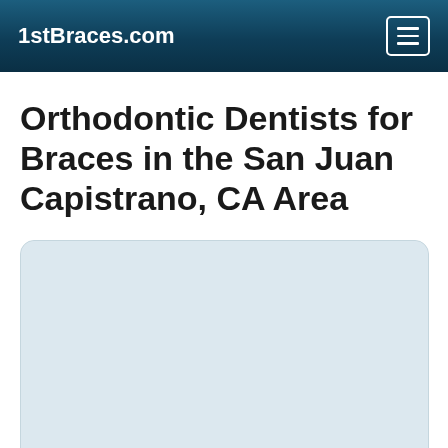1stBraces.com
Orthodontic Dentists for Braces in the San Juan Capistrano, CA Area
[Figure (map): Map placeholder showing orthodontic dentists in the San Juan Capistrano, CA area]